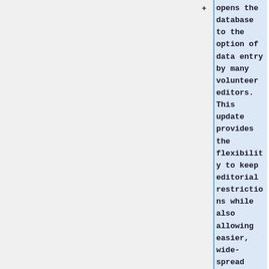opens the database to the option of data entry by many volunteer editors. This update provides the flexibility to keep editorial restrictions while also allowing easier, wide-spread contributions for revising and